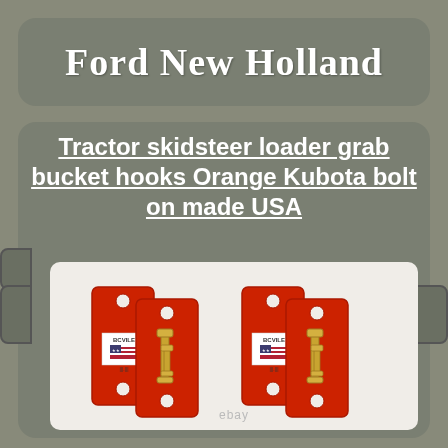Ford New Holland
Tractor skidsteer loader grab bucket hooks Orange Kubota bolt on made USA
[Figure (photo): Photo of orange tractor skidsteer loader grab bucket hooks with gold bolts, two pairs shown on white background with BCVILE brand label and American flag decals. Ebay watermark at bottom.]